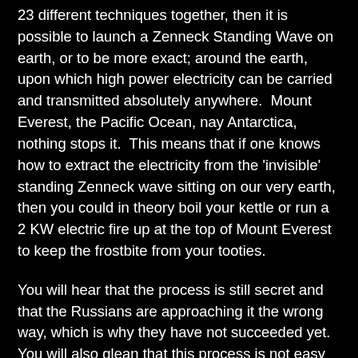23 different techniques together, then it is possible to launch a Zenneck Standing Wave on earth, or to be more exact; around the earth, upon which high power electricity can be carried and transmitted absolutely anywhere.  Mount Everest, the Pacific Ocean, nay Antarctica, nothing stops it.  This means that if one knows how to extract the electricity from the 'invisible' standing Zenneck wave sitting on our very earth, then you could in theory boil your kettle or run a 2 KW electric fire up at the top of Mount Everest to keep the frostbite from your tooties.
You will hear that the process is still secret and that the Russians are approaching it the wrong way, which is why they have not succeeded yet. You will also glean that this process is not easy to achieve, meaning; launch the actual wave upon the earth and equally hard to tap into to get your power. Further more, approach just about anyone you like, anywhere in the world and try to explain how this works and you will be met with skepticism... big time! For those with a smattering of physics...